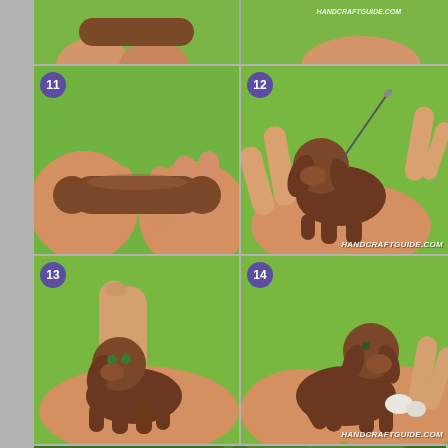[Figure (photo): Step 11: Hands shaping a brown clay/fondant sausage shape on green background]
[Figure (photo): Step 12: Hands assembling a small brown clay puppy figure on green background, with watermark HANDCRAFTGUIDE.COM]
[Figure (photo): Step 13: Hands adding small green detail eyes to brown clay puppy on green background]
[Figure (photo): Step 14: Hands assembling/posing a brown clay dog figure on green background, with watermark HANDCRAFTGUIDE.COM]
[Figure (photo): Step 15: Close-up of brown clay dog body part being placed on dark green surface, with white clay details]